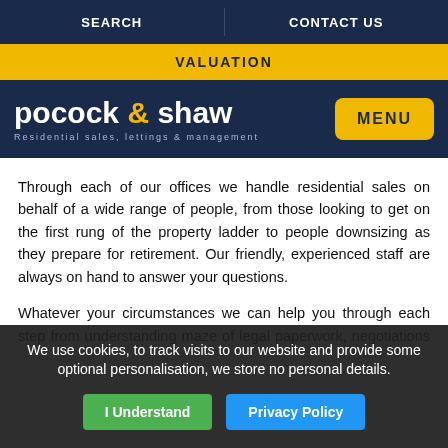SEARCH | CONTACT US
VALUATION
[Figure (logo): Pocock & shaw logo with text 'Residential sales, lettings & management' and MENU button]
Through each of our offices we handle residential sales on behalf of a wide range of people, from those looking to get on the first rung of the property ladder to people downsizing as they prepare for retirement. Our friendly, experienced staff are always on hand to answer your questions.
Whatever your circumstances we can help you through each step from understanding maze of legal paperwork, negotiations with the seller, dealing with surveyors and
We use cookies, to track visits to our website and provide some optional personalisation, we store no personal details.